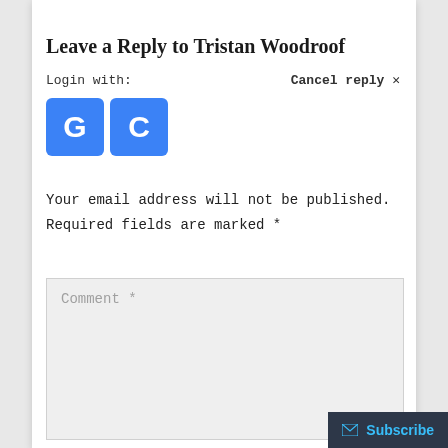Leave a Reply to Tristan Woodroof
Login with:
Cancel reply ✕
[Figure (logo): Two blue square icons with white letters 'G' and 'C' representing login provider buttons]
Your email address will not be published. Required fields are marked *
Comment *
✉ Subscribe